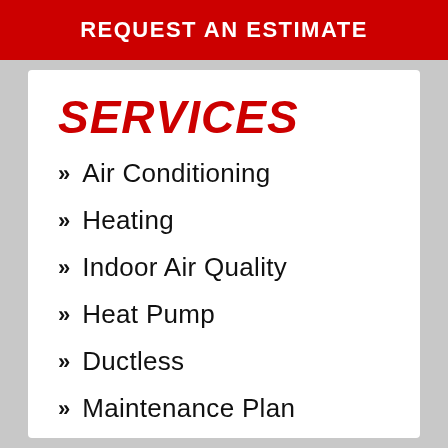REQUEST AN ESTIMATE
SERVICES
Air Conditioning
Heating
Indoor Air Quality
Heat Pump
Ductless
Maintenance Plan